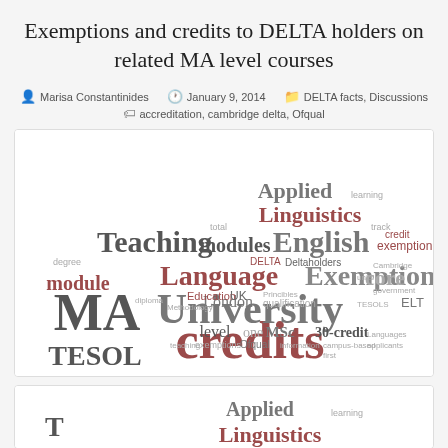Exemptions and credits to DELTA holders on related MA level courses
Marisa Constantinides  January 9, 2014  DELTA facts, Discussions  accreditation, cambridge delta, Ofqual
[Figure (infographic): Word cloud featuring terms related to DELTA exemptions and MA level courses. Prominent words include: credits, University, MA, TESOL, Teaching, Language, Exemption, English, Linguistics, Applied, module, core, modules, 30-credit, MSc, level, London, one, exemption, ELT, TESOL, degree, Education, UK, Methodology, Princibles, qualification, information, exemptions, teaching, Ofqual, campus-based, applicants, Languages, first, DELTA, Deltaholders, track, credit, Cambridge, government, etc.]
[Figure (infographic): Partial word cloud (cropped at bottom of page) showing Applied, Linguistics, and partial other words — continuation of word cloud figure.]